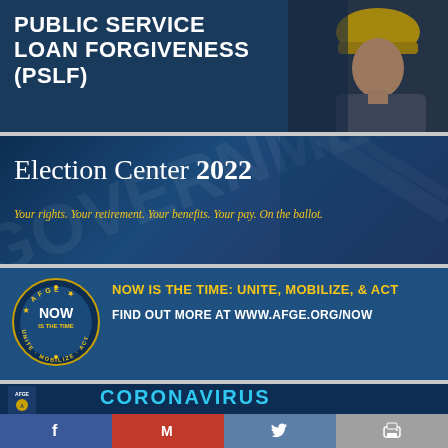[Figure (infographic): Public Service Loan Forgiveness (PSLF) banner with dark navy background and image of female firefighter in yellow helmet on the right]
PUBLIC SERVICE LOAN FORGIVENESS (PSLF)
[Figure (infographic): Election Center 2022 banner with dark blue background]
Election Center 2022
Your rights. Your retirement. Your benefits. Your pay. On the ballot.
[Figure (infographic): AFGE NOW Is The Time banner — Unite, Mobilize, Act campaign with circular AFGE logo on left]
NOW IS THE TIME: UNITE, MOBILIZE, & ACT
FIND OUT MORE AT WWW.AFGE.ORG/NOW
[Figure (infographic): AFGE Coronavirus banner with AFGE logo and CORONAVIRUS text in cyan]
[Figure (infographic): Social sharing bar with Facebook, Gmail/Mail, Twitter, and Print buttons]